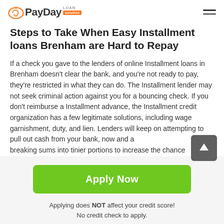PayDay Loan Solution
Steps to Take When Easy Installment loans Brenham are Hard to Repay
If a check you gave to the lenders of online Installment loans in Brenham doesn't clear the bank, and you're not ready to pay, they're restricted in what they can do. The Installment lender may not seek criminal action against you for a bouncing check. If you don't reimburse a Installment advance, the Installment credit organization has a few legitimate solutions, including wage garnishment, duty, and lien. Lenders will keep on attempting to pull out cash from your bank, now and again breaking sums into tinier portions to increase the chance
Apply Now
Applying does NOT affect your credit score!
No credit check to apply.